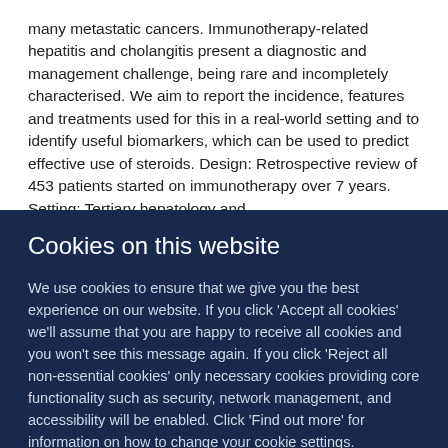many metastatic cancers. Immunotherapy-related hepatitis and cholangitis present a diagnostic and management challenge, being rare and incompletely characterised. We aim to report the incidence, features and treatments used for this in a real-world setting and to identify useful biomarkers, which can be used to predict effective use of steroids. Design: Retrospective review of 453 patients started on immunotherapy over 7 years. Setting: Tertiary hepatology and
Cookies on this website
We use cookies to ensure that we give you the best experience on our website. If you click 'Accept all cookies' we'll assume that you are happy to receive all cookies and you won't see this message again. If you click 'Reject all non-essential cookies' only necessary cookies providing core functionality such as security, network management, and accessibility will be enabled. Click 'Find out more' for information on how to change your cookie settings.